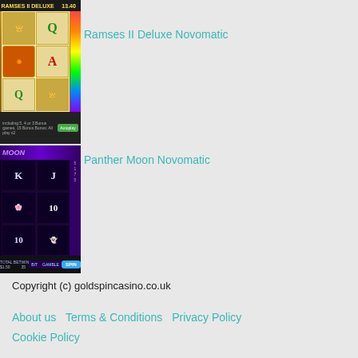[Figure (screenshot): Ramses II Deluxe Novomatic slot game screenshot showing reels with Egyptian symbols including pharaoh, Q and A letters, orange desert scene]
Ramses II Deluxe Novomatic
[Figure (screenshot): Panther Moon Novomatic slot game screenshot showing reels with K, J, 10 symbols, blue flower, and panther/ghost symbols on dark purple background]
Panther Moon Novomatic
Copyright (c) goldspincasino.co.uk
About us   Terms & Conditions   Privacy Policy   Cookie Policy